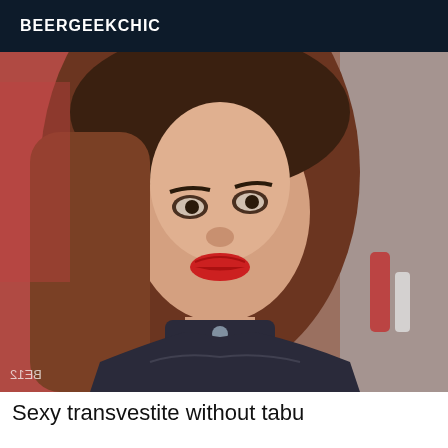BEERGEEKCHIC
[Figure (photo): Person with long brown hair wearing a black leather collar and silver necklace, dressed in a black leather strapless top, looking at the camera. Watermark text reads 'BE12' (mirrored).]
Sexy transvestite without tabu